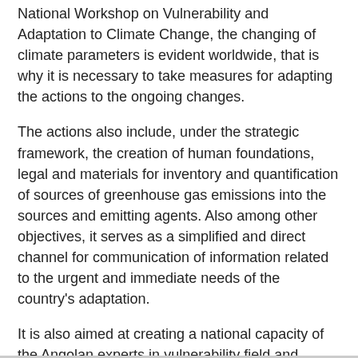National Workshop on Vulnerability and Adaptation to Climate Change, the changing of climate parameters is evident worldwide, that is why it is necessary to take measures for adapting the actions to the ongoing changes.
The actions also include, under the strategic framework, the creation of human foundations, legal and materials for inventory and quantification of sources of greenhouse gas emissions into the sources and emitting agents. Also among other objectives, it serves as a simplified and direct channel for communication of information related to the urgent and immediate needs of the country's adaptation.
It is also aimed at creating a national capacity of the Angolan experts in vulnerability field and adaptation to climate changes, thus ensuring a favourable environment for the implementation of the referred convention, as well as to facilitate the creation of capacity for preparation of national communication about the subject….
Map of Angola from the CIA World Factbook, Wikimedia Commons